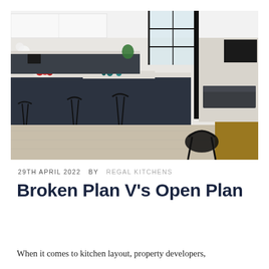[Figure (photo): Interior photo of a modern open-plan kitchen with dark navy/charcoal island unit with white countertop, black wire bar stools, glass partition wall with black metal frame, light wood flooring, white upper cabinets, and a living area visible in the background with a dark sofa and TV. A wooden dining table with black chairs is visible in the right foreground.]
29TH APRIL 2022   BY   REGAL KITCHENS
Broken Plan V's Open Plan
When it comes to kitchen layout, property developers,